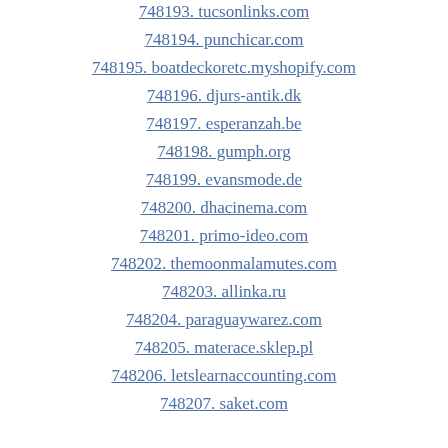748193. tucsonlinks.com
748194. punchicar.com
748195. boatdeckoretc.myshopify.com
748196. djurs-antik.dk
748197. esperanzah.be
748198. gumph.org
748199. evansmode.de
748200. dhacinema.com
748201. primo-ideo.com
748202. themoonmalamutes.com
748203. allinka.ru
748204. paraguaywarez.com
748205. materace.sklep.pl
748206. letslearnaccounting.com
748207. saket.com